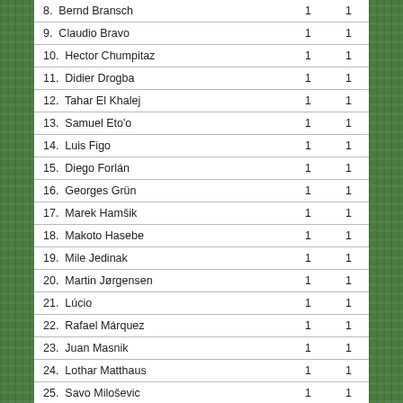| # | Name | Col1 | Col2 |
| --- | --- | --- | --- |
| 8. | Bernd Bransch | 1 | 1 |
| 9. | Claudio Bravo | 1 | 1 |
| 10. | Hector Chumpitaz | 1 | 1 |
| 11. | Didier Drogba | 1 | 1 |
| 12. | Tahar El Khalej | 1 | 1 |
| 13. | Samuel Eto'o | 1 | 1 |
| 14. | Luis Figo | 1 | 1 |
| 15. | Diego Forlán | 1 | 1 |
| 16. | Georges Grün | 1 | 1 |
| 17. | Marek Hamšik | 1 | 1 |
| 18. | Makoto Hasebe | 1 | 1 |
| 19. | Mile Jedinak | 1 | 1 |
| 20. | Martin Jørgensen | 1 | 1 |
| 21. | Lúcio | 1 | 1 |
| 22. | Rafael Márquez | 1 | 1 |
| 23. | Juan Masnik | 1 | 1 |
| 24. | Lothar Matthaus | 1 | 1 |
| 25. | Savo Miloševic | 1 | 1 |
| 26. | Severino Minelli | 1 | 1 |
| 27. | Yuji Nakazawa | 1 | 1 |